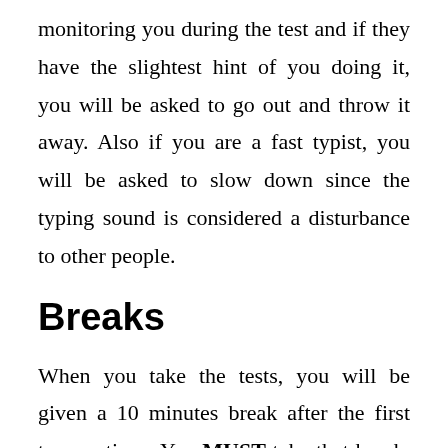monitoring you during the test and if they have the slightest hint of you doing it, you will be asked to go out and throw it away. Also if you are a fast typist, you will be asked to slow down since the typing sound is considered a disturbance to other people.
Breaks
When you take the tests, you will be given a 10 minutes break after the first two sections. You MUST take that break. Go outside, get